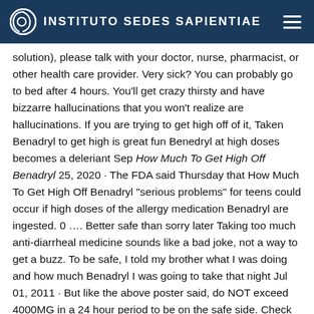INSTITUTO SEDES SAPIENTIAE
solution), please talk with your doctor, nurse, pharmacist, or other health care provider. Very sick? You can probably go to bed after 4 hours. You'll get crazy thirsty and have bizzarre hallucinations that you won't realize are hallucinations. If you are trying to get high off of it, Taken Benadryl to get high is great fun Benedryl at high doses becomes a deleriant Sep How Much To Get High Off Benadryl 25, 2020 · The FDA said Thursday that How Much To Get High Off Benadryl "serious problems" for teens could occur if high doses of the allergy medication Benadryl are ingested. 0 …. Better safe than sorry later Taking too much anti-diarrheal medicine sounds like a bad joke, not a way to get a buzz. To be safe, I told my brother what I was doing and how much Benadryl I was going to take that night Jul 01, 2011 · But like the above poster said, do NOT exceed 4000MG in a 24 hour period to be on the safe side. Check the label to see if a medicine contains an antihistamine. All this time, I was blowing money on buying extra Methadone because I thought that was the problem. Some breeds, like Chinese Shar-Peis, Wirehaired Fox Terriers, Golden Retrievers, Dalmatians, Boxers, and Boston